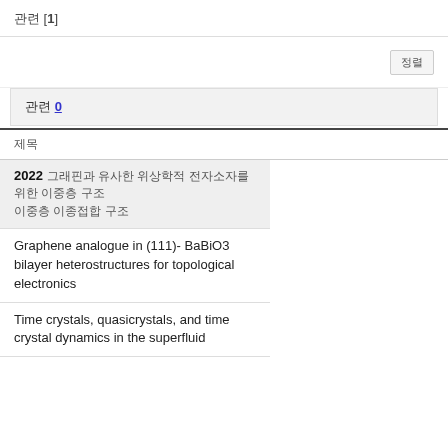관련 [1]
정렬
관련 0
제목
2022 그래핀과 유사한 위상학적 전자소자를 위한 이중층 구조
Graphene analogue in (111)- BaBiO3 bilayer heterostructures for topological electronics
Time crystals, quasicrystals, and time crystal dynamics in the superfluid